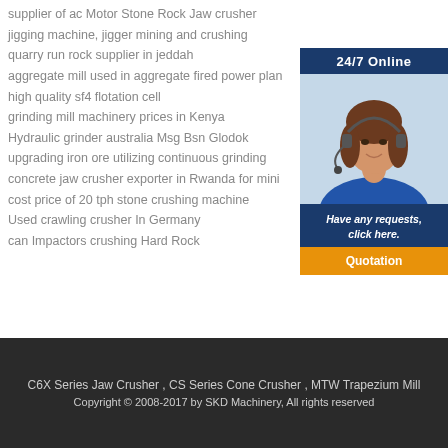supplier of ac Motor Stone Rock Jaw crusher
jigging machine, jigger mining and crushing
quarry run rock supplier in jeddah
aggregate mill used in aggregate fired power plant
high quality sf4 flotation cell
grinding mill machinery prices in Kenya
Hydraulic grinder australia Msg Bsn Glodok
upgrading iron ore utilizing continuous grinding
concrete jaw crusher exporter in Rwanda for mini
cost price of 20 tph stone crushing machine
Used crawling crusher In Germany
can Impactors crushing Hard Rock
[Figure (photo): Customer service representative wearing a headset, 24/7 Online support widget with blue background, italic text 'Have any requests, click here.' and orange Quotation button]
C6X Series Jaw Crusher , CS Series Cone Crusher , MTW Trapezium Mill
Copyright © 2008-2017 by SKD Machinery, All rights reserved